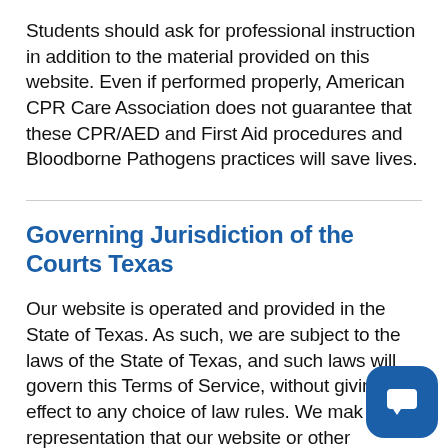Students should ask for professional instruction in addition to the material provided on this website. Even if performed properly, American CPR Care Association does not guarantee that these CPR/AED and First Aid procedures and Bloodborne Pathogens practices will save lives.
Governing Jurisdiction of the Courts Texas
Our website is operated and provided in the State of Texas. As such, we are subject to the laws of the State of Texas, and such laws will govern this Terms of Service, without giving effect to any choice of law rules. We make representation that our website or other services